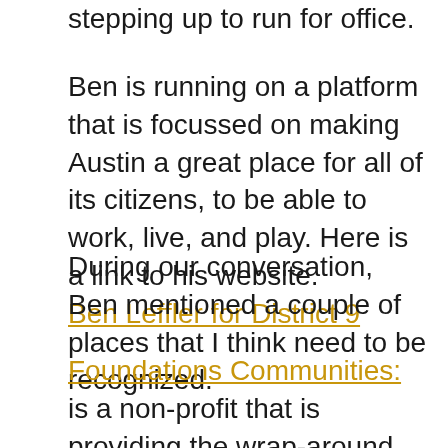stepping up to run for office.
Ben is running on a platform that is focussed on making Austin a great place for all of its citizens, to be able to work, live, and play. Here is a link to his website. Ben Leffler for District 9
During our conversation, Ben mentioned a couple of places that I think need to be recognized.
Foundations Communities: is a non-profit that is providing the wrap-around services and housing to get people off the streets and started on a new life. They have over 20 facilities in Austin serving a population of over 7,000...